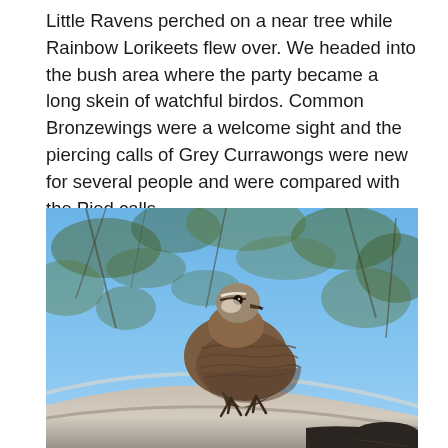Little Ravens perched on a near tree while Rainbow Lorikeets flew over. We headed into the bush area where the party became a long skein of watchful birdos. Common Bronzewings were a welcome sight and the piercing calls of Grey Currawongs were new for several people and were compared with the Pied calls.
[Figure (photo): A Common Bronzewing pigeon perched on a pale curved branch or log, photographed from below against a blue sky with blurred green eucalyptus foliage in the background. The bird has brown plumage with intricate feather patterning and a pale face.]